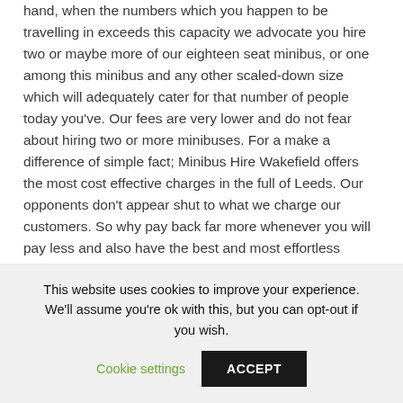hand, when the numbers which you happen to be travelling in exceeds this capacity we advocate you hire two or maybe more of our eighteen seat minibus, or one among this minibus and any other scaled-down size which will adequately cater for that number of people today you've. Our fees are very lower and do not fear about hiring two or more minibuses. For a make a difference of simple fact; Minibus Hire Wakefield offers the most cost effective charges in the full of Leeds. Our opponents don't appear shut to what we charge our customers. So why pay back far more whenever you will pay less and also have the best and most effortless minibus use companies.
We have fine quality minibuses. Our minibuses are acquired from manufacturers such as Renault, Mercedes, Citroen and
This website uses cookies to improve your experience. We'll assume you're ok with this, but you can opt-out if you wish.
Cookie settings
ACCEPT